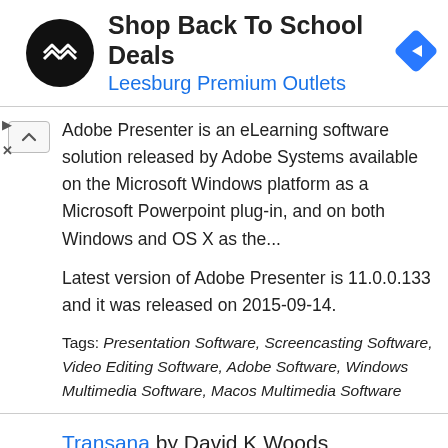[Figure (screenshot): Advertisement banner for Shop Back To School Deals at Leesburg Premium Outlets, showing a black circular logo with white arrows, the ad title, subtitle in blue, and a blue diamond navigation icon. Small ad controls (play and close buttons) on the left side.]
Adobe Presenter is an eLearning software solution released by Adobe Systems available on the Microsoft Windows platform as a Microsoft Powerpoint plug-in, and on both Windows and OS X as the...
Latest version of Adobe Presenter is 11.0.0.133 and it was released on 2015-09-14.
Tags: Presentation Software, Screencasting Software, Video Editing Software, Adobe Software, Windows Multimedia Software, Macos Multimedia Software
Transana by David K Woods University of Wisconsin-Madison